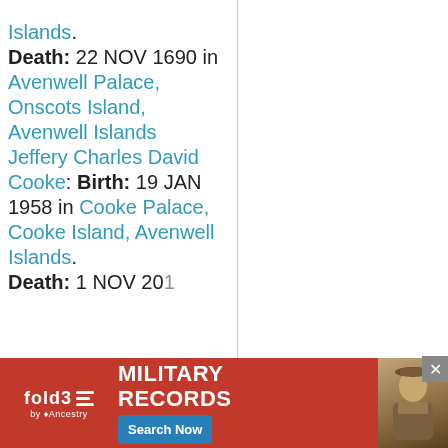Islands. Death: 22 NOV 1690 in Avenwell Palace, Onscots Island, Avenwell Islands Jeffery Charles David Cooke: Birth: 19 JAN 1958 in Cooke Palace, Cooke Island, Avenwell Islands. Death: 1 NOV 20...
[Figure (screenshot): Advertisement banner for fold3 Military Records by Ancestry with Search Now button and photo of a soldier]